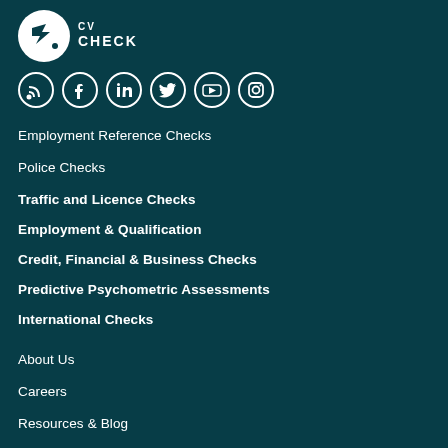[Figure (logo): CV Check logo — white circle with arrow and dot icon, followed by 'CV CHECK' text in white]
[Figure (infographic): Row of 6 social media icon circles (RSS, Facebook, LinkedIn, Twitter, YouTube, Instagram) in white outline on dark teal background]
Employment Reference Checks
Police Checks
Traffic and Licence Checks
Employment & Qualification
Credit, Financial & Business Checks
Predictive Psychometric Assessments
International Checks
About Us
Careers
Resources & Blog